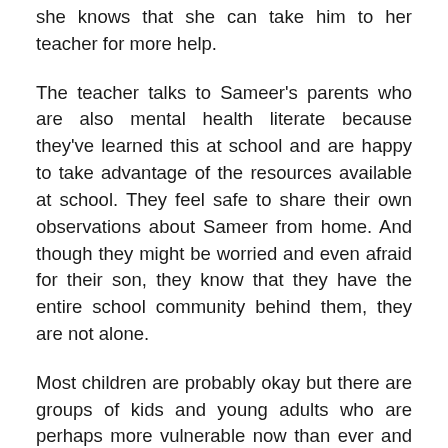she knows that she can take him to her teacher for more help.
The teacher talks to Sameer's parents who are also mental health literate because they've learned this at school and are happy to take advantage of the resources available at school. They feel safe to share their own observations about Sameer from home. And though they might be worried and even afraid for their son, they know that they have the entire school community behind them, they are not alone.
Most children are probably okay but there are groups of kids and young adults who are perhaps more vulnerable now than ever and it is vital for us and the policymakers to put provisions in place. Working towards the creation of mental health literate schools can be an effective step in this direction.